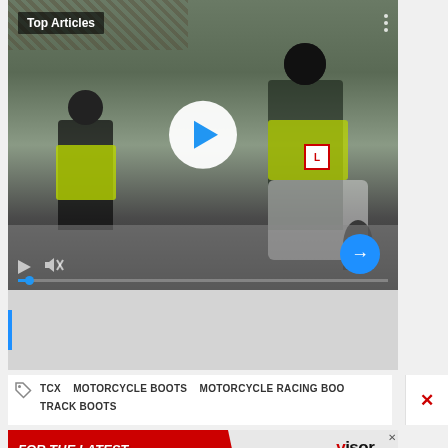[Figure (screenshot): Video player showing two people in hi-vis jackets on a motorcycle training area. Large white play button in center, smaller playback controls at bottom left, blue next arrow at bottom right. 'Top Articles' label in top-left corner. Progress bar partially filled in blue.]
TCX   MOTORCYCLE BOOTS   MOTORCYCLE RACING BOO  TRACK BOOTS
[Figure (infographic): Advertisement banner: red background on left with italic bold text 'FOR THE LATEST BIKE REVIEWS AND NEWS'. Visordown logo and YouTube button on right side.]